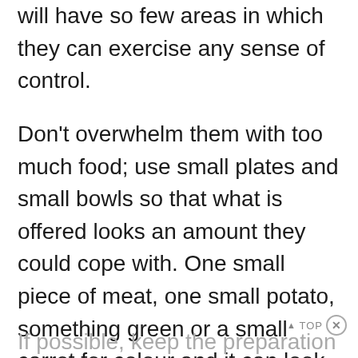will have so few areas in which they can exercise any sense of control.
Don't overwhelm them with too much food; use small plates and small bowls so that what is offered looks an amount they could cope with. One small piece of meat, one small potato, something green or a small carrot for colour and it can look much more inviting. Herbs can add valuable taste for jaundiced appetites and can offset the effects of medication.
If possible, keep the preparation at a